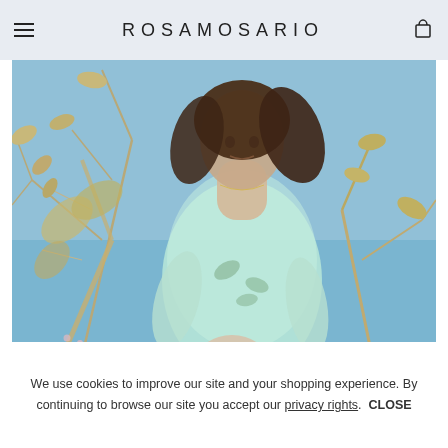ROSAMOSARIO
[Figure (photo): Fashion model wearing a mint green translucent blouse, standing outdoors with dry plant branches in the foreground against a blue sky]
BACK TO
We use cookies to improve our site and your shopping experience. By continuing to browse our site you accept our privacy rights.  CLOSE